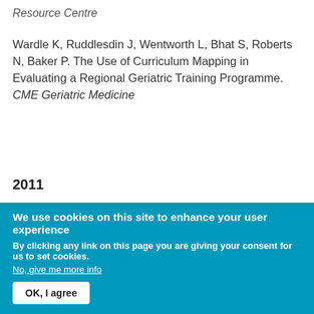Resource Centre
Wardle K, Ruddlesdin J, Wentworth L, Bhat S, Roberts N, Baker P. The Use of Curriculum Mapping in Evaluating a Regional Geriatric Training Programme. CME Geriatric Medicine
2011
Agius S, Baron R, Lewis B, Hayden J. What do GP educators perceive to be the opportunities and challenges of introducing revalidation? Education for Primary Care 2011;
We use cookies on this site to enhance your user experience
By clicking any link on this page you are giving your consent for us to set cookies.
No, give me more info
OK, I agree